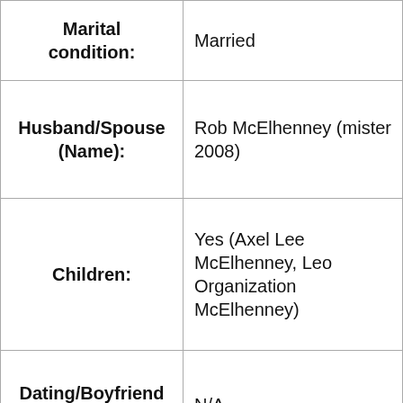| Field | Value |
| --- | --- |
| Marital condition: | Married |
| Husband/Spouse (Name): | Rob McElhenney (mister 2008) |
| Children: | Yes (Axel Lee McElhenney, Leo Organization McElhenney) |
| Dating/Boyfriend (Name): | N/A |
| Profession: | American actor, music producer, as |